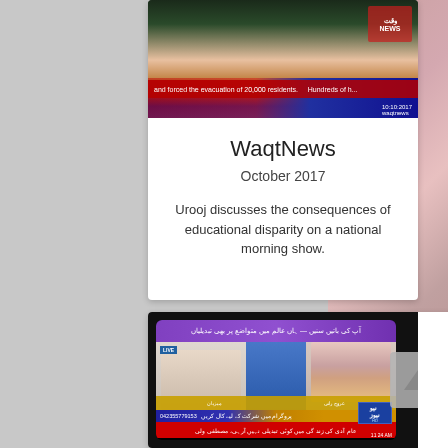[Figure (screenshot): TV news screenshot from WaqtNews showing a news broadcast with ticker text and logo]
WaqtNews
October 2017
Urooj discusses the consequences of educational disparity on a national morning show.
[Figure (screenshot): TV screenshot from Neo News showing a morning show with multiple guests on a sofa and Urdu text tickers]